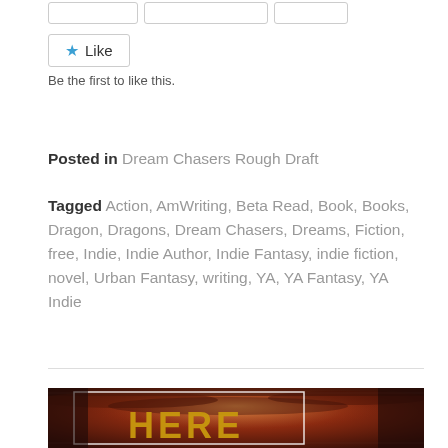Like
Be the first to like this.
Posted in Dream Chasers Rough Draft
Tagged Action, AmWriting, Beta Read, Book, Books, Dragon, Dragons, Dream Chasers, Dreams, Fiction, free, Indie, Indie Author, Indie Fantasy, indie fiction, novel, Urban Fantasy, writing, YA, YA Fantasy, YA Indie
[Figure (illustration): Book cover image with dark reddish-brown dramatic sky background and large gold text reading HERE]